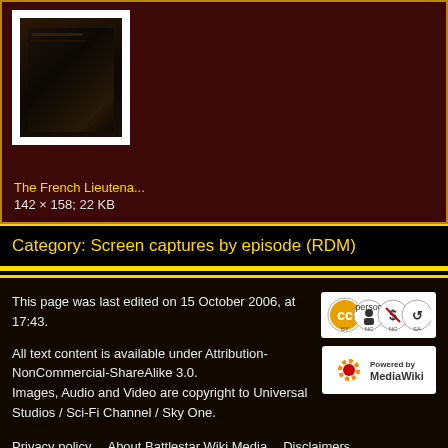[Figure (photo): Thumbnail image of The French Lieutenant's Woman, dark toned screenshot with white border frame]
The French Lieutena...
142 × 158; 22 KB
Category:  Screen captures by episode (RDM)
This page was last edited on 15 October 2006, at 17:43.
All text content is available under Attribution-NonCommercial-ShareAlike 3.0.
Images, Audio and Video are copyright to Universal Studios / Sci-Fi Channel / Sky One.
[Figure (logo): Creative Commons Attribution-NonCommercial-ShareAlike license badge]
[Figure (logo): Powered by MediaWiki badge]
Privacy policy    About Battlestar Wiki Media    Disclaimers